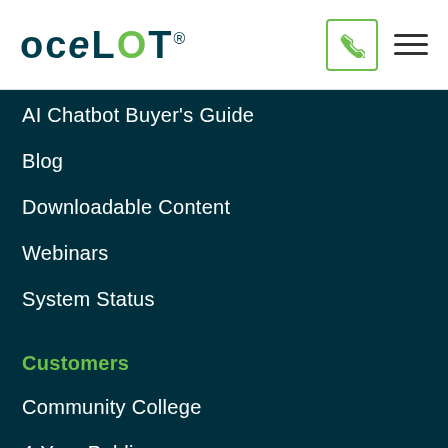[Figure (logo): Ocelot logo in dark teal/navy with green T, registered trademark symbol, on white background]
AI Chatbot Buyer's Guide
Blog
Downloadable Content
Webinars
System Status
Customers
Community College
4-Year Public
4-Year Private
Students